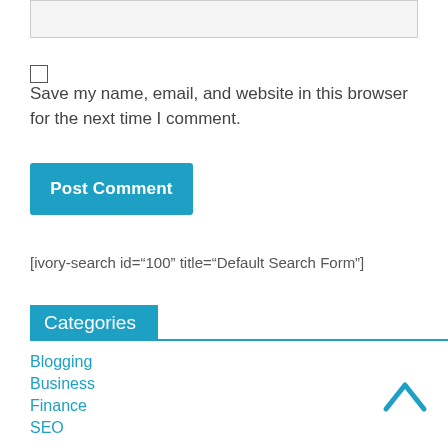[Figure (screenshot): Text area input box (partially visible, gray background)]
Save my name, email, and website in this browser for the next time I comment.
Post Comment
[ivory-search id="100" title="Default Search Form"]
Categories
Blogging
Business
Finance
SEO